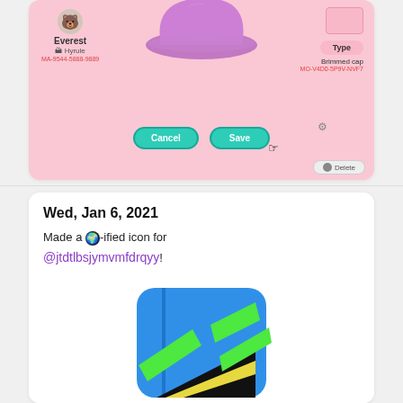[Figure (screenshot): Animal Crossing game screenshot showing a design saving screen with a purple brimmed cap, character named Everest from Hyrule with creator code MA-9544-5888-9889, item type Brimmed cap with code MO-V4D0-5P9V-NVF7, Cancel and Save buttons, and a Delete option]
Wed, Jan 6, 2021
Made a 🌍-ified icon for @jtdtlbsjymvmfdrqyy!
[Figure (screenshot): App icon with colorful design featuring blue background with green and yellow diagonal shapes, shown in rounded rectangle iOS-style icon frame]